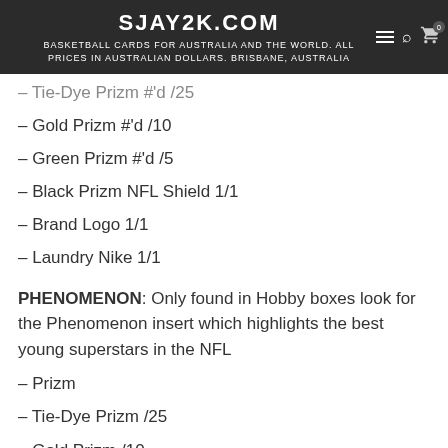SJAY2K.COM
BASKETBALL CARDS FOR AUSTRALIA AND THE WORLD. ALL PRICES IN AUSTRALIAN DOLLARS. BRISBANE, AUSTRALIA
– Tie-Dye Prizm #'d /25
– Gold Prizm #'d /10
– Green Prizm #'d /5
– Black Prizm NFL Shield 1/1
– Brand Logo 1/1
– Laundry Nike 1/1
PHENOMENON: Only found in Hobby boxes look for the Phenomenon insert which highlights the best young superstars in the NFL
– Prizm
– Tie-Dye Prizm /25
– Gold Prizm /10
– Green Prizm /5
– Black Prizm /1